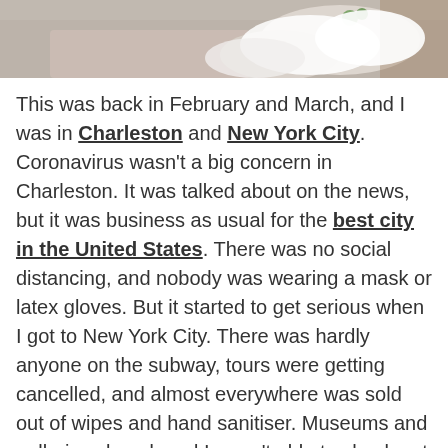[Figure (photo): Partial photo of a white cat or animal lying on a gray/pink blanket, cropped at the top of the page]
This was back in February and March, and I was in Charleston and New York City. Coronavirus wasn't a big concern in Charleston. It was talked about on the news, but it was business as usual for the best city in the United States. There was no social distancing, and nobody was wearing a mask or latex gloves. But it started to get serious when I got to New York City. There was hardly anyone on the subway, tours were getting cancelled, and almost everywhere was sold out of wipes and hand sanitiser. Museums and galleries closed, and I wasn't able to check out the Morgan Library before it shut its doors. I did, however, get my photo taken for the New York Post before flying